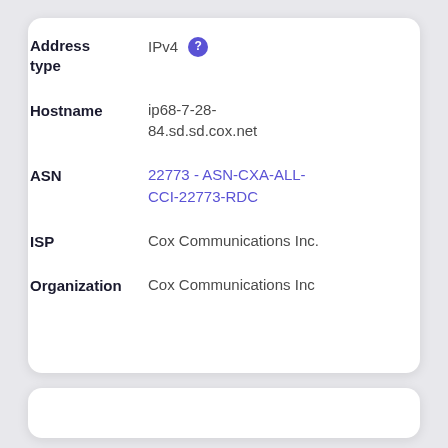Address type: IPv4
Hostname: ip68-7-28-84.sd.sd.cox.net
ASN: 22773 - ASN-CXA-ALL-CCI-22773-RDC
ISP: Cox Communications Inc.
Organization: Cox Communications Inc